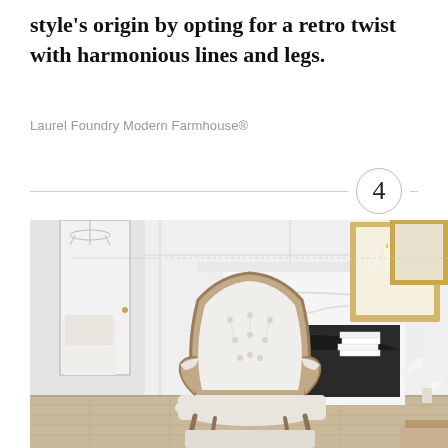style's origin by opting for a retro twist with harmonious lines and legs.
Laurel Foundry Modern Farmhouse®
4
[Figure (photo): Elegant living room scene featuring a French-style tufted white upholstered armchair with carved wood frame in front of an ornate white fireplace mantel, with a gold-framed mirror, stacked white books, and white flowers on the right side. Hardwood floor visible.]